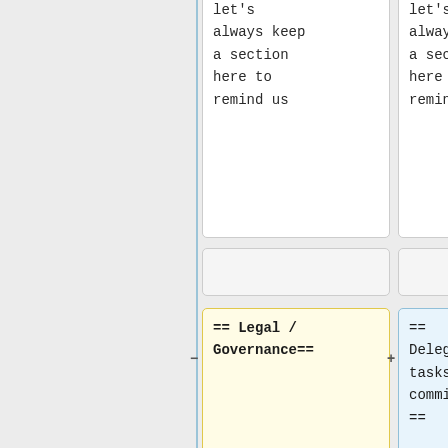let's always keep a section here to remind us
let's always keep a section here to remind us
== Legal / Governance==
== Delegating tasks to committees ==
=== standing committees ===
The following